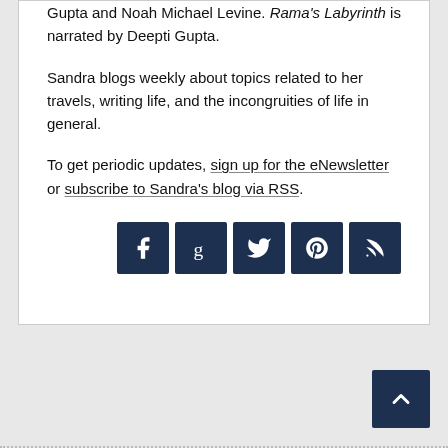Gupta and Noah Michael Levine. Rama's Labyrinth is narrated by Deepti Gupta.
Sandra blogs weekly about topics related to her travels, writing life, and the incongruities of life in general.
To get periodic updates, sign up for the eNewsletter or subscribe to Sandra's blog via RSS.
[Figure (infographic): Row of 5 dark navy social media icon buttons: Facebook (f), Goodreads (g), Twitter bird, Pinterest, RSS feed]
[Figure (other): Dark navy back-to-top button with upward chevron arrow, positioned bottom right]